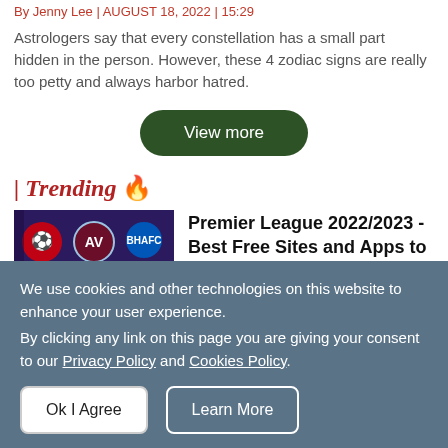By Jenny Lee | AUGUST 18, 2022 | 15:29
Astrologers say that every constellation has a small part hidden in the person. However, these 4 zodiac signs are really too petty and always harbor hatred.
View more
| Trending 🔥
[Figure (photo): Premier League team badges on dark purple background]
Premier League 2022/2023 - Best Free Sites and Apps to Watch, TV Channel, Live Stream
We use cookies and other technologies on this website to enhance your user experience.
By clicking any link on this page you are giving your consent to our Privacy Policy and Cookies Policy.
Ok I Agree
Learn More